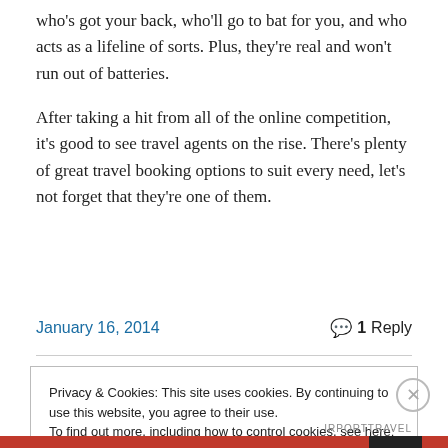who's got your back, who'll go to bat for you, and who acts as a lifeline of sorts. Plus, they're real and won't run out of batteries.
After taking a hit from all of the online competition, it's good to see travel agents on the rise. There's plenty of great travel booking options to suit every need, let's not forget that they're one of them.
January 16, 2014    💬 1 Reply
Privacy & Cookies: This site uses cookies. By continuing to use this website, you agree to their use. To find out more, including how to control cookies, see here: Cookie Policy